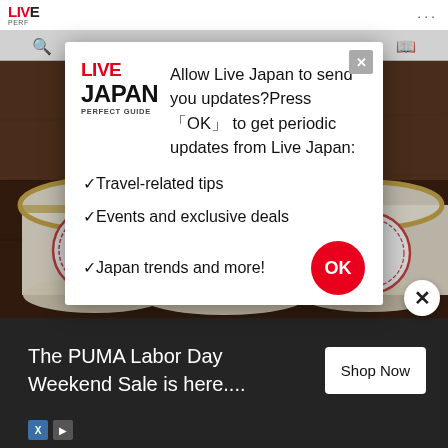LIVE JAPAN PERFECT GUIDE
[Figure (screenshot): Browser tab with modal dialog overlay on Live Japan website. Background shows photo of Curious George Kitchen pudding cups/jars on a wooden surface.]
Allow Live Japan to send you updates?Press 「OK」 to get periodic updates from Live Japan:
✓Travel-related tips
✓Events and exclusive deals
✓Japan trends and more!
The PUMA Labor Day Weekend Sale is here....
Shop Now